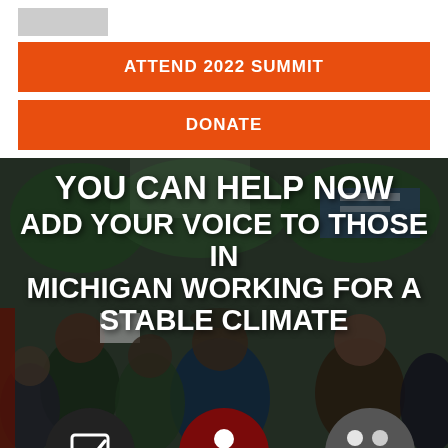[Figure (logo): Organization logo placeholder (grey rectangle)]
ATTEND 2022 SUMMIT
DONATE
[Figure (photo): Crowd of protesters outdoors with signs, overlaid with bold white text: YOU CAN HELP NOW ADD YOUR VOICE TO THOSE IN MICHIGAN WORKING FOR A STABLE CLIMATE]
YOU CAN HELP NOW ADD YOUR VOICE TO THOSE IN MICHIGAN WORKING FOR A STABLE CLIMATE